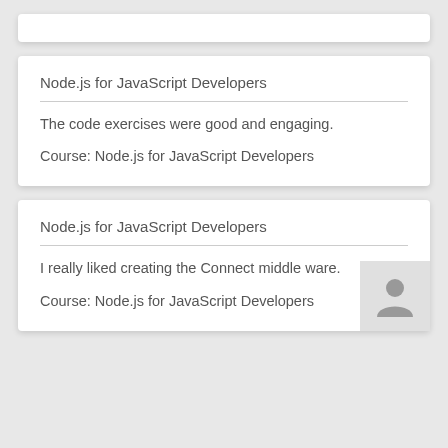Node.js for JavaScript Developers
The code exercises were good and engaging.
Course: Node.js for JavaScript Developers
Node.js for JavaScript Developers
I really liked creating the Connect middle ware.
Course: Node.js for JavaScript Developers